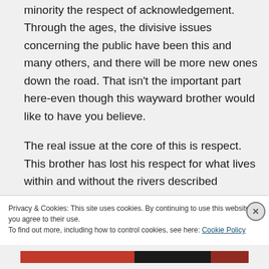minority the respect of acknowledgement. Through the ages, the divisive issues concerning the public have been this and many others, and there will be more new ones down the road. That isn't the important part here-even though this wayward brother would like to have you believe.
The real issue at the core of this is respect. This brother has lost his respect for what lives within and without the rivers described...
Privacy & Cookies: This site uses cookies. By continuing to use this website, you agree to their use.
To find out more, including how to control cookies, see here: Cookie Policy
Close and accept